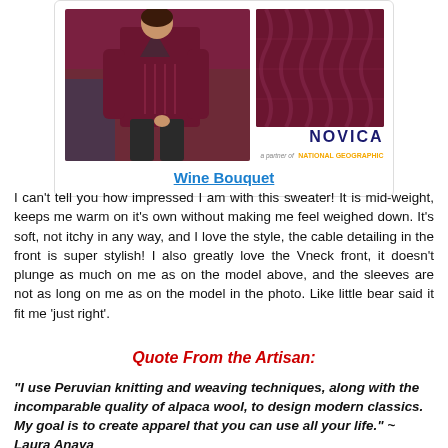[Figure (photo): Product card showing a dark burgundy/wine colored cable-knit sweater. Left image shows a woman wearing the sweater with dark pants. Right image shows a close-up of the cable knit detail. NOVICA logo in bottom right corner.]
Wine Bouquet
I can't tell you how impressed I am with this sweater! It is mid-weight, keeps me warm on it's own without making me feel weighed down. It's soft, not itchy in any way, and I love the style, the cable detailing in the front is super stylish! I also greatly love the Vneck front, it doesn't plunge as much on me as on the model above, and the sleeves are not as long on me as on the model in the photo. Like little bear said it fit me ‘just right’.
Quote From the Artisan:
“I use Peruvian knitting and weaving techniques, along with the incomparable quality of alpaca wool, to design modern classics. My goal is to create apparel that you can use all your life.” ~ Laura Anaya